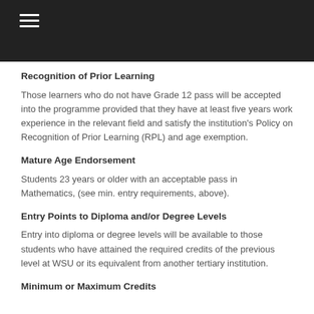Recognition of Prior Learning
Those learners who do not have Grade 12 pass will be accepted into the programme provided that they have at least five years work experience in the relevant field and satisfy the institution's Policy on Recognition of Prior Learning (RPL) and age exemption.
Mature Age Endorsement
Students 23 years or older with an acceptable pass in Mathematics, (see min. entry requirements, above).
Entry Points to Diploma and/or Degree Levels
Entry into diploma or degree levels will be available to those students who have attained the required credits of the previous level at WSU or its equivalent from another tertiary institution.
Minimum or Maximum Credits